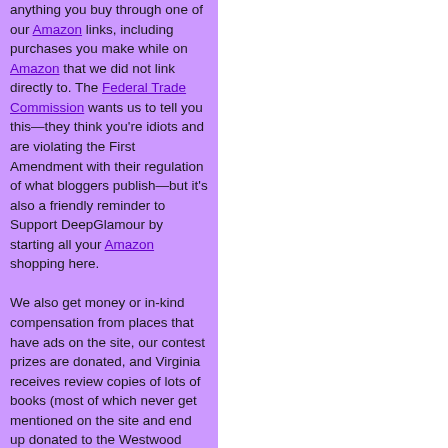anything you buy through one of our Amazon links, including purchases you make while on Amazon that we did not link directly to. The Federal Trade Commission wants us to tell you this—they think you're idiots and are violating the First Amendment with their regulation of what bloggers publish—but it's also a friendly reminder to Support DeepGlamour by starting all your Amazon shopping here.

We also get money or in-kind compensation from places that have ads on the site, our contest prizes are donated, and Virginia receives review copies of lots of books (most of which never get mentioned on the site and end up donated to the Westwood branch of the L.A. Public Library). But you could probably figure that out on your own.